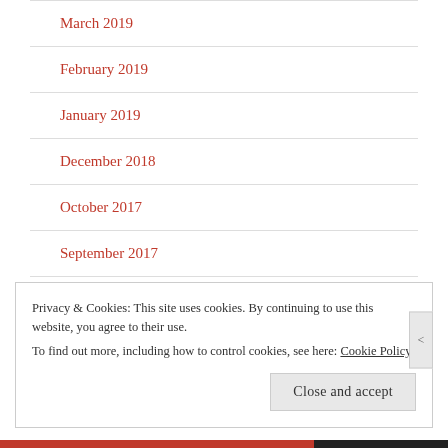March 2019
February 2019
January 2019
December 2018
October 2017
September 2017
Privacy & Cookies: This site uses cookies. By continuing to use this website, you agree to their use.
To find out more, including how to control cookies, see here: Cookie Policy
Close and accept